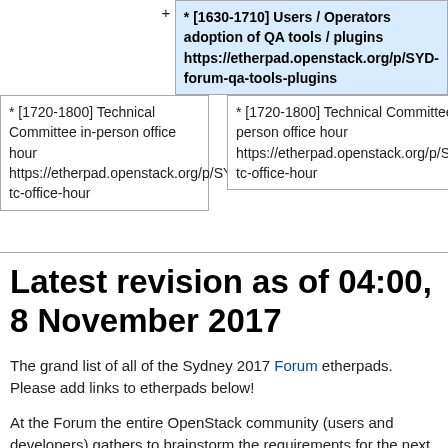* [1630-1710] Users / Operators adoption of QA tools / plugins https://etherpad.openstack.org/p/SYD-forum-qa-tools-plugins
* [1720-1800] Technical Committee in-person office hour https://etherpad.openstack.org/p/SYD-tc-office-hour
* [1720-1800] Technical Committee in-person office hour https://etherpad.openstack.org/p/SYD-tc-office-hour
Latest revision as of 04:00, 8 November 2017
The grand list of all of the Sydney 2017 Forum etherpads. Please add links to etherpads below!
At the Forum the entire OpenStack community (users and developers) gathers to brainstorm the requirements for the next release, gather feedback on the past version and have strategic discussions that go beyond just one release cycle. The Sydney